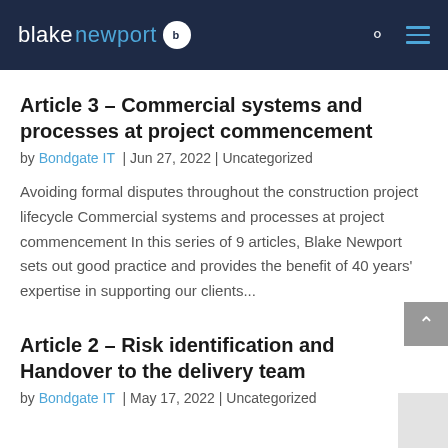blakenewport
Article 3 – Commercial systems and processes at project commencement
by Bondgate IT | Jun 27, 2022 | Uncategorized
Avoiding formal disputes throughout the construction project lifecycle Commercial systems and processes at project commencement In this series of 9 articles, Blake Newport sets out good practice and provides the benefit of 40 years' expertise in supporting our clients...
Article 2 – Risk identification and Handover to the delivery team
by Bondgate IT | May 17, 2022 | Uncategorized